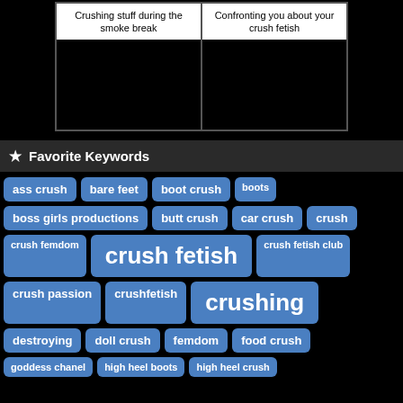| Crushing stuff during the smoke break | Confronting you about your crush fetish |
| [image] | [image] |
★ Favorite Keywords
ass crush
bare feet
boot crush
boots
boss girls productions
butt crush
car crush
crush
crush femdom
crush fetish
crush fetish club
crush passion
crushfetish
crushing
destroying
doll crush
femdom
food crush
goddess chanel
high heel boots
high heel crush